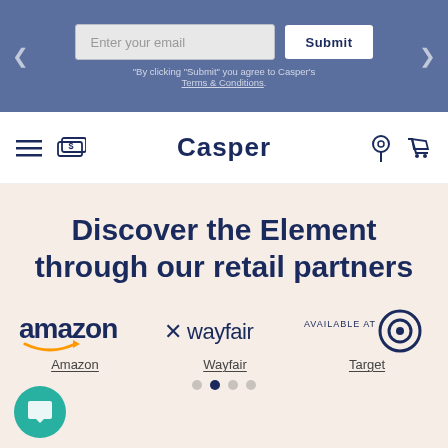Enter your email  Submit  "By clicking 'Submit' you agree to Casper's Terms & Conditions."
[Figure (logo): Casper navigation bar with hamburger menu, money icon, Casper logo, location pin, and cart icon]
Discover the Element through our retail partners
[Figure (logo): Amazon logo]
[Figure (logo): Wayfair logo]
[Figure (logo): Target Available At logo]
Amazon
Wayfair
Target